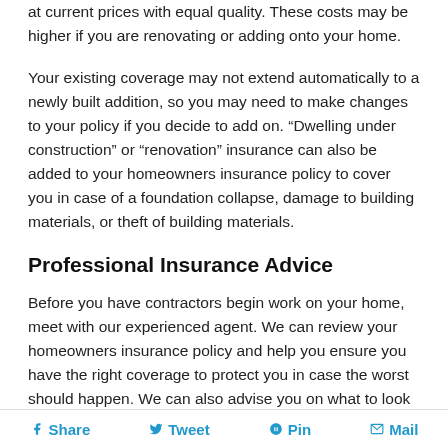at current prices with equal quality. These costs may be higher if you are renovating or adding onto your home.
Your existing coverage may not extend automatically to a newly built addition, so you may need to make changes to your policy if you decide to add on. “Dwelling under construction” or “renovation” insurance can also be added to your homeowners insurance policy to cover you in case of a foundation collapse, damage to building materials, or theft of building materials.
Professional Insurance Advice
Before you have contractors begin work on your home, meet with our experienced agent. We can review your homeowners insurance policy and help you ensure you have the right coverage to protect you in case the worst should happen. We can also advise you on what to look for when reviewing a contractor’s insurance policies.
Share   Tweet   Pin   Mail